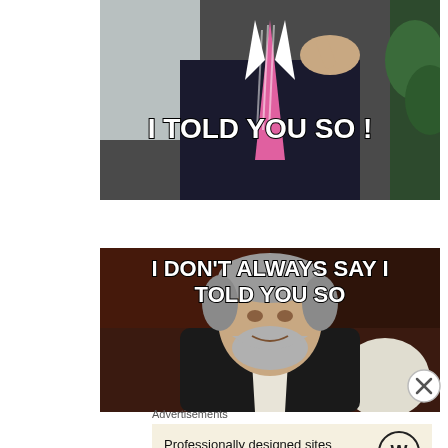[Figure (photo): Meme image of a man in a suit with pink striped tie pointing at camera, with bold white text 'I TOLD YOU SO !' overlaid]
[Figure (photo): Meme image of an older distinguished man with gray beard seated, with bold white text 'I DON'T ALWAYS SAY I TOLD YOU SO' overlaid at top]
Advertisements
Professionally designed sites in less than a week